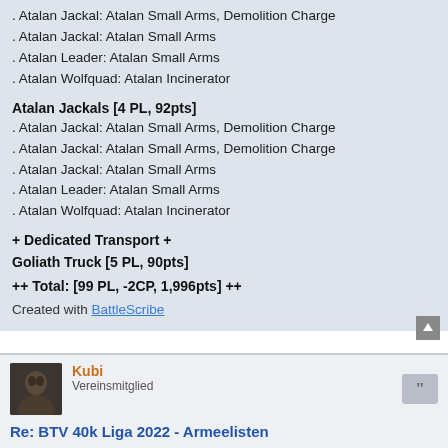. Atalan Jackal: Atalan Small Arms, Demolition Charge
. Atalan Jackal: Atalan Small Arms
. Atalan Leader: Atalan Small Arms
. Atalan Wolfquad: Atalan Incinerator
Atalan Jackals [4 PL, 92pts]
. Atalan Jackal: Atalan Small Arms, Demolition Charge
. Atalan Jackal: Atalan Small Arms, Demolition Charge
. Atalan Jackal: Atalan Small Arms
. Atalan Leader: Atalan Small Arms
. Atalan Wolfquad: Atalan Incinerator
+ Dedicated Transport +
Goliath Truck [5 PL, 90pts]
++ Total: [99 PL, -2CP, 1,996pts] ++
Created with BattleScribe
Kubi
Vereinsmitglied
Re: BTV 40k Liga 2022 - Armeelisten